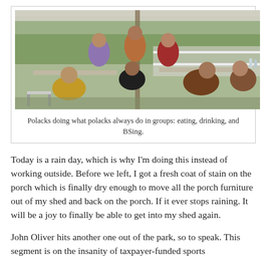[Figure (photo): Group of people sitting and standing around folding tables under a tent canopy outdoors, with green trees and a white fence in the background. People appear to be eating and socializing.]
Polacks doing what polacks always do in groups: eating, drinking, and BSing.
Today is a rain day, which is why I'm doing this instead of working outside. Before we left, I got a fresh coat of stain on the porch which is finally dry enough to move all the porch furniture out of my shed and back on the porch. If it ever stops raining. It will be a joy to finally be able to get into my shed again.
John Oliver hits another one out of the park, so to speak. This segment is on the insanity of taxpayer-funded sports